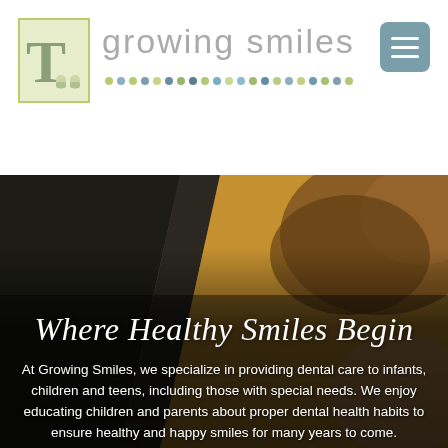[Figure (logo): Growing Smiles pediatric dental practice logo with stylized T and tooth icons in a green bordered box, brand name in gray, colorful dots row below]
Where Healthy Smiles Begin
At Growing Smiles, we specialize in providing dental care to infants, children and teens, including those with special needs. We enjoy educating children and parents about proper dental health habits to ensure healthy and happy smiles for many years to come.